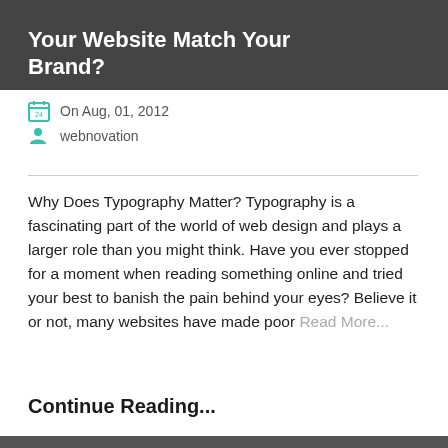Your Website Match Your Brand?
On Aug, 01, 2012
webnovation
Why Does Typography Matter? Typography is a fascinating part of the world of web design and plays a larger role than you might think. Have you ever stopped for a moment when reading something online and tried your best to banish the pain behind your eyes? Believe it or not, many websites have made poor Read More...
Continue Reading...